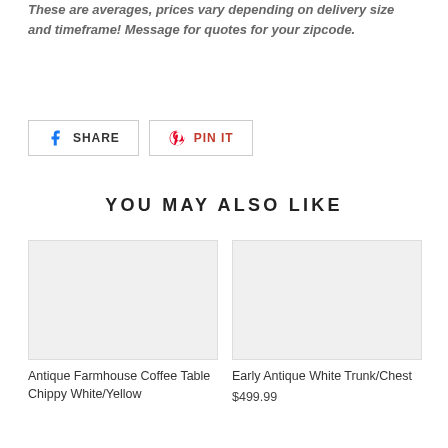These are averages, prices vary depending on delivery size and timeframe! Message for quotes for your zipcode.
[Figure (other): Share on Facebook and Pin It buttons]
YOU MAY ALSO LIKE
[Figure (other): Product image placeholder for Antique Farmhouse Coffee Table Chippy White/Yellow]
Antique Farmhouse Coffee Table Chippy White/Yellow
[Figure (other): Product image placeholder for Early Antique White Trunk/Chest]
Early Antique White Trunk/Chest
$499.99